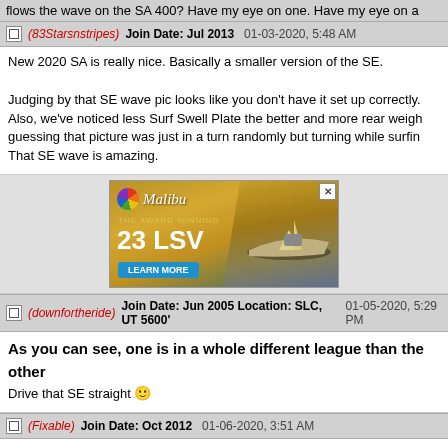flows the wave on the SA 400? Have my eye on one. Have my eye on
(83Starsnstripes)  Join Date: Jul 2013  01-03-2020, 5:48 AM
New 2020 SA is really nice. Basically a smaller version of the SE.

Judging by that SE wave pic looks like you don't have it set up correctly. Also, we've noticed less Surf Swell Plate the better and more rear weigh guessing that picture was just in a turn randomly but turning while surfin That SE wave is amazing.
[Figure (photo): Malibu 23 LSV boat advertisement with 'THE AWARD WINNING 23 LSV LEARN MORE' text and image of boat on water]
(downfortheride)  Join Date: Jun 2005 Location: SLC, UT 5600'  01-05-2020, 5:29 PM
As you can see, one is in a whole different league than the other
Drive that SE straight 😊
(Fixable)  Join Date: Oct 2012  01-06-2020, 3:51 AM
Quote:
Originally Posted by downfortheride
As you can see, one is in a whole different league than the other
Drive that SE straight 😊